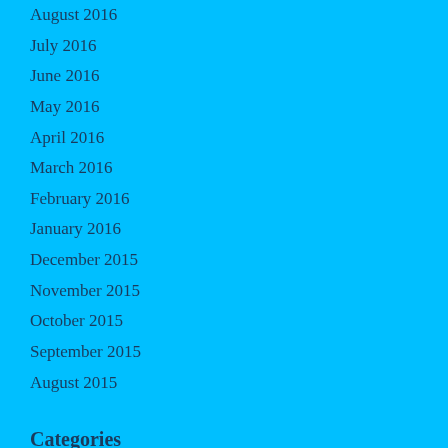August 2016
July 2016
June 2016
May 2016
April 2016
March 2016
February 2016
January 2016
December 2015
November 2015
October 2015
September 2015
August 2015
Categories
501's
Article Search